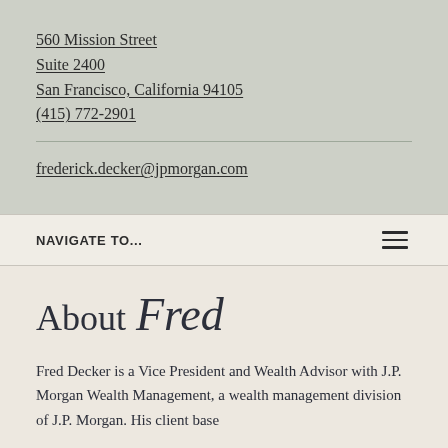560 Mission Street
Suite 2400
San Francisco, California 94105
(415) 772-2901
frederick.decker@jpmorgan.com
NAVIGATE TO...
About Fred
Fred Decker is a Vice President and Wealth Advisor with J.P. Morgan Wealth Management, a wealth management division of J.P. Morgan. His client base